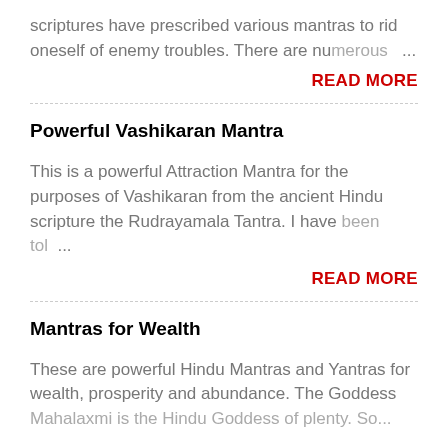scriptures have prescribed various mantras to rid oneself of enemy troubles. There are numerous ...
READ MORE
Powerful Vashikaran Mantra
This is a powerful Attraction Mantra for the purposes of Vashikaran from the ancient Hindu scripture the Rudrayamala Tantra. I have been tol ...
READ MORE
Mantras for Wealth
These are powerful Hindu Mantras and Yantras for wealth, prosperity and abundance. The Goddess Mahalaxmi is the Hindu Goddess of plenty. So...